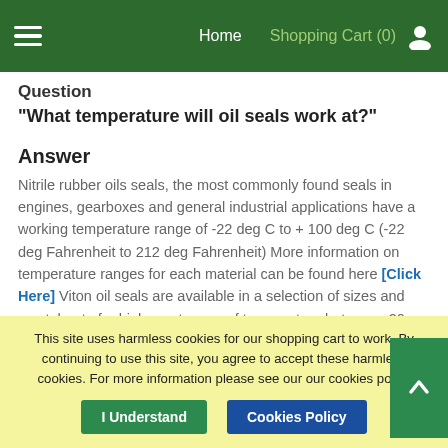Home   Shopping Cart (0)
Question
"What temperature will oil seals work at?"
Answer
Nitrile rubber oils seals, the most commonly found seals in engines, gearboxes and general industrial applications have a working temperature range of -22 deg C to + 100 deg C (-22 deg Fahrenheit to 212 deg Fahrenheit) More information on temperature ranges for each material can be found here [Click Here] Viton oil seals are available in a selection of sizes and can tolerate far higher extremes of temperature between -20 deg C to +200 deg C
This site uses harmless cookies for our shopping cart to work. By continuing to use this site, you agree to accept these harmless cookies. For more information please see our our cookies policy